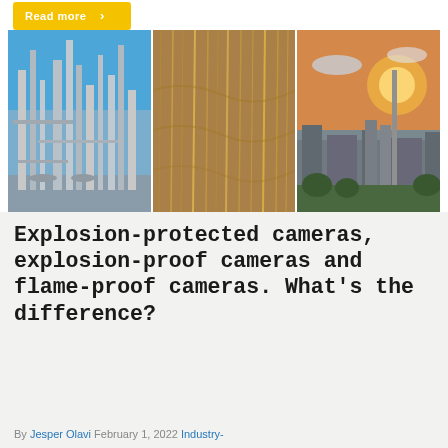[Figure (other): Yellow 'Read more' button with arrow at top left]
[Figure (photo): Three industrial photos side by side: left shows a chemical/oil refinery with tall metal towers and blue sky; center shows grain or wood fibers falling/flowing; right shows an industrial facility at sunset with silos and buildings]
Explosion-protected cameras, explosion-proof cameras and flame-proof cameras. What's the difference?
By Jesper Olavi February 1, 2022 Industry-